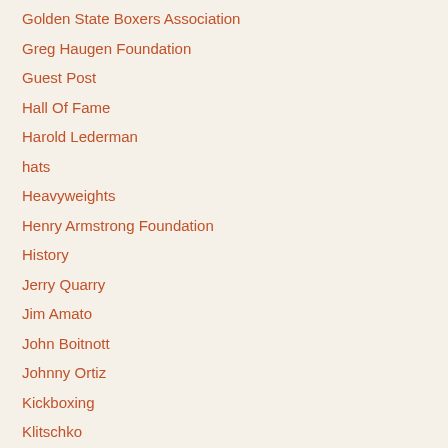Golden State Boxers Association
Greg Haugen Foundation
Guest Post
Hall Of Fame
Harold Lederman
hats
Heavyweights
Henry Armstrong Foundation
History
Jerry Quarry
Jim Amato
John Boitnott
Johnny Ortiz
Kickboxing
Klitschko